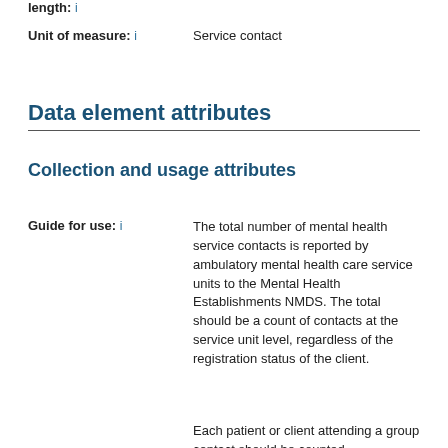length: 1
Unit of measure: i   Service contact
Data element attributes
Collection and usage attributes
Guide for use: i   The total number of mental health service contacts is reported by ambulatory mental health care service units to the Mental Health Establishments NMDS. The total should be a count of contacts at the service unit level, regardless of the registration status of the client.
Each patient or client attending a group contact should be counted